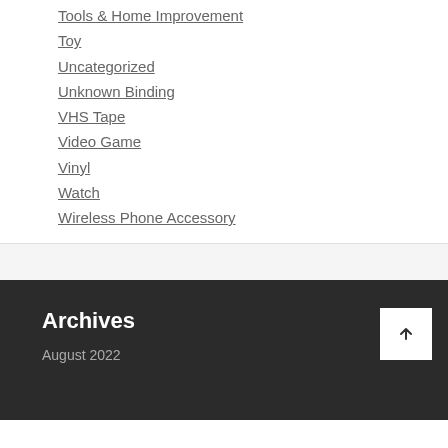Tools & Home Improvement
Toy
Uncategorized
Unknown Binding
VHS Tape
Video Game
Vinyl
Watch
Wireless Phone Accessory
Archives
August 2022